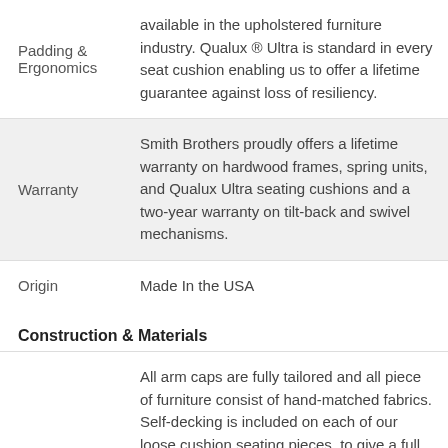| Padding &
Ergonomics | available in the upholstered furniture industry. Qualux ® Ultra is standard in every seat cushion enabling us to offer a lifetime guarantee against loss of resiliency. |
| Warranty | Smith Brothers proudly offers a lifetime warranty on hardwood frames, spring units, and Qualux Ultra seating cushions and a two-year warranty on tilt-back and swivel mechanisms. |
| Origin | Made In the USA |
Construction & Materials
All arm caps are fully tailored and all piece of furniture consist of hand-matched fabrics. Self-decking is included on each of our loose cushion seating pieces, to give a full continuity of fabric pattern—